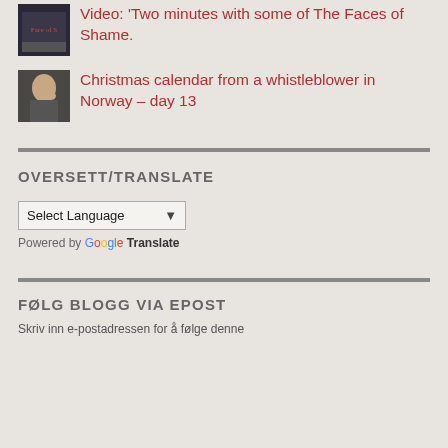[Figure (photo): Thumbnail image of 'The Faces of Shame' book/video cover showing dark cover with faces]
Video: 'Two minutes with some of The Faces of Shame.
[Figure (photo): Thumbnail image of a man with hand near chin, whistleblower related]
Christmas calendar from a whistleblower in Norway – day 13
OVERSETT/TRANSLATE
Select Language (dropdown) Powered by Google Translate
FØLG BLOGG VIA EPOST
Skriv inn e-postadressen for å følge denne